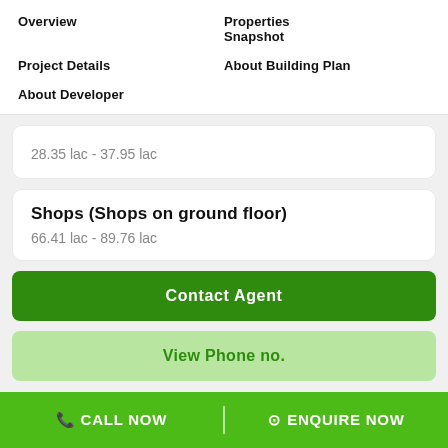Overview
Properties
Snapshot
Project Details
About Building Plan
About Developer
28.35 lac - 37.95 lac
Shops (Shops on ground floor)
66.41 lac - 89.76 lac
Contact Agent
View Phone no.
CALL NOW | ENQUIRE NOW